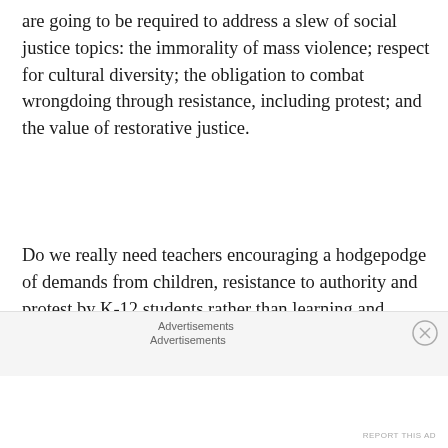are going to be required to address a slew of social justice topics: the immorality of mass violence; respect for cultural diversity; the obligation to combat wrongdoing through resistance, including protest; and the value of restorative justice.
Do we really need teachers encouraging a hodgepodge of demands from children, resistance to authority and protest by K-12 students rather than learning and dialog, particularly when adults are using students as part of a cynical political strategy?
Advertisements
Advertisements